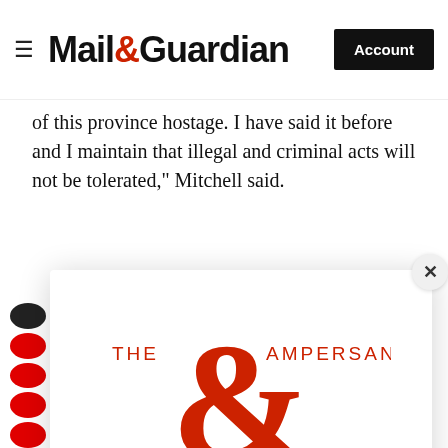Mail&Guardian  Account
of this province hostage. I have said it before and I maintain that illegal and criminal acts will not be tolerated," Mitchell said.
[Figure (logo): The Ampersand logo — a large red ampersand with THE AMPERSAND text, used as Mail & Guardian newsletter branding]
Stay informed. Every weekday.
E-mail Address
Signup now